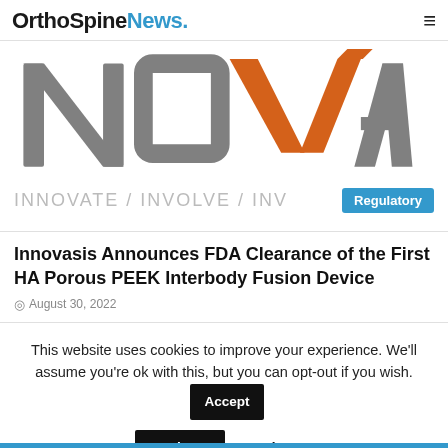OrthoSpineNews.
[Figure (logo): Novasi company logo — large grey letters N, O, V, A, S, I with an orange checkmark/arrow shape replacing the V, on white background. Tagline: INNOVATE / INVOLVE / INVEST (partially visible). A blue 'Regulatory' badge overlaps the right side of the tagline.]
Innovasis Announces FDA Clearance of the First HA Porous PEEK Interbody Fusion Device
August 30, 2022
This website uses cookies to improve your experience. We'll assume you're ok with this, but you can opt-out if you wish.